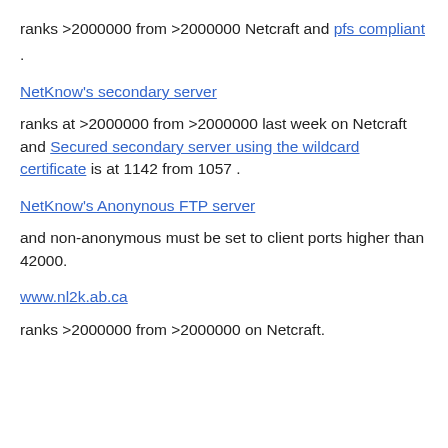ranks >2000000 from >2000000 Netcraft and pfs compliant
.
NetKnow's secondary server
ranks at >2000000 from >2000000 last week on Netcraft and Secured secondary server using the wildcard certificate is at 1142 from 1057 .
NetKnow's Anonynous FTP server
and non-anonymous must be set to client ports higher than 42000.
www.nl2k.ab.ca
ranks >2000000 from >2000000 on Netcraft.